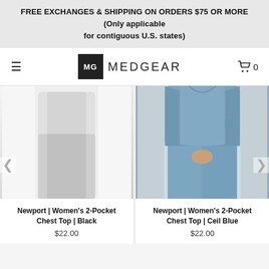FREE EXCHANGES & SHIPPING ON ORDERS $75 OR MORE (Only applicable for contiguous U.S. states)
[Figure (logo): MedGear logo with MG monogram in black square and MEDGEAR text]
[Figure (photo): Newport Women's 2-Pocket Chest Top in Black - partial white/light gray product photo]
Newport | Women's 2-Pocket Chest Top | Black
$22.00
[Figure (photo): Newport Women's 2-Pocket Chest Top in Ceil Blue - model wearing blue scrubs top and pants]
Newport | Women's 2-Pocket Chest Top | Ceil Blue
$22.00